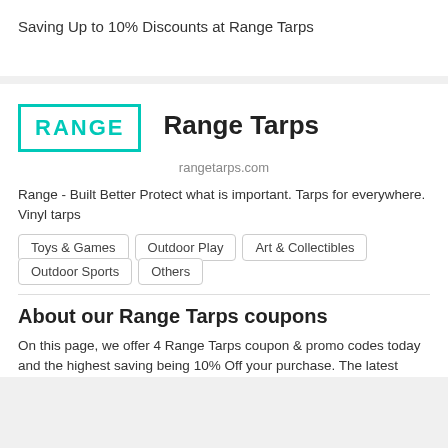Saving Up to 10% Discounts at Range Tarps
Range Tarps
[Figure (logo): Range logo: bold teal text 'RANGE' inside a teal rectangular border]
rangetarps.com
Range - Built Better Protect what is important. Tarps for everywhere. Vinyl tarps
Toys & Games
Outdoor Play
Art & Collectibles
Outdoor Sports
Others
About our Range Tarps coupons
On this page, we offer 4 Range Tarps coupon & promo codes today and the highest saving being 10% Off your purchase. The latest